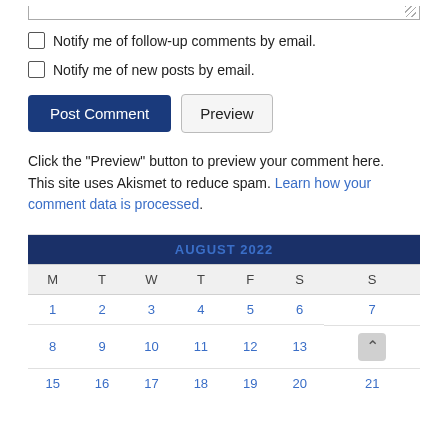Notify me of follow-up comments by email.
Notify me of new posts by email.
Click the "Preview" button to preview your comment here. This site uses Akismet to reduce spam. Learn how your comment data is processed.
| AUGUST 2022 |  |  |  |  |  |  |
| --- | --- | --- | --- | --- | --- | --- |
| M | T | W | T | F | S | S |
| 1 | 2 | 3 | 4 | 5 | 6 | 7 |
| 8 | 9 | 10 | 11 | 12 | 13 |  |
| 15 | 16 | 17 | 18 | 19 | 20 | 21 |